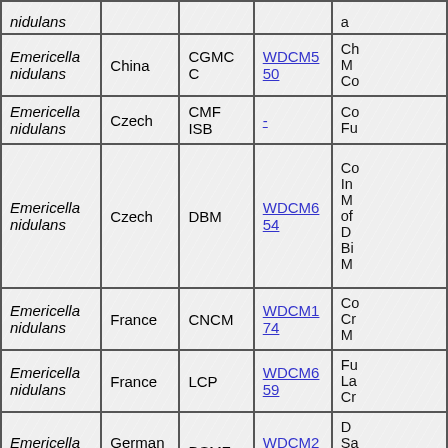| Species | Country | Collection | WDCM | Description |
| --- | --- | --- | --- | --- |
| nidulans |  |  |  | a... |
| Emericella nidulans | China | CGMCC | WDCM550 | Ch M Co... |
| Emericella nidulans | Czech | CMF ISB | - | Co Fu... |
| Emericella nidulans | Czech | DBM | WDCM654 | Co In M of D Bi M... |
| Emericella nidulans | France | CNCM | WDCM174 | Co Cr M... |
| Emericella nidulans | France | LCP | WDCM659 | Fu La Cr... |
| Emericella nidulans | Germany | DSMZ | WDCM274 | D Sa M Ze... |